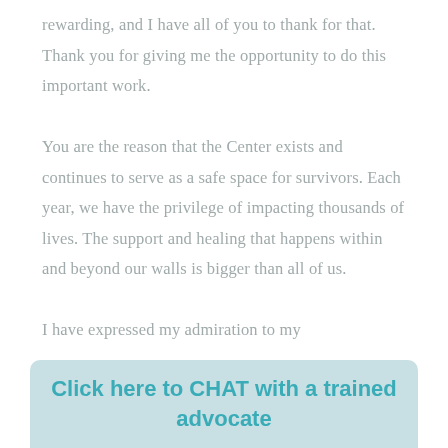rewarding, and I have all of you to thank for that. Thank you for giving me the opportunity to do this important work.

You are the reason that the Center exists and continues to serve as a safe space for survivors. Each year, we have the privilege of impacting thousands of lives. The support and healing that happens within and beyond our walls is bigger than all of us.

I have expressed my admiration to my
Click here to CHAT with a trained advocate